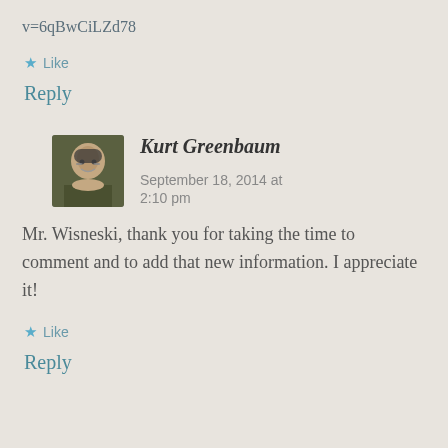v=6qBwCiLZd78
★ Like
Reply
Kurt Greenbaum  September 18, 2014 at 2:10 pm
Mr. Wisneski, thank you for taking the time to comment and to add that new information. I appreciate it!
★ Like
Reply